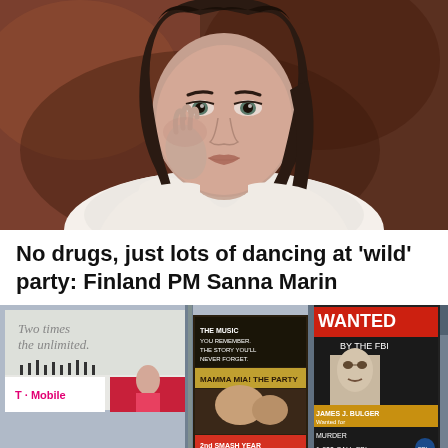[Figure (photo): Portrait photo of a young woman with dark hair, hand raised near her cheek, wearing a white shirt, against a warm reddish-brown blurred background.]
No drugs, just lots of dancing at 'wild' party: Finland PM Sanna Marin
[Figure (photo): Photo of Times Square area billboards including a T-Mobile advertisement, a musical theatre show advertisement, and a WANTED BY THE FBI poster for James J. Bulger, and a CNN billboard. Busy urban commercial signage scene.]